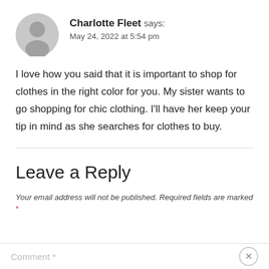[Figure (illustration): Generic user avatar - grey circle with silhouette of head and shoulders]
Charlotte Fleet says:
May 24, 2022 at 5:54 pm
I love how you said that it is important to shop for clothes in the right color for you. My sister wants to go shopping for chic clothing. I'll have her keep your tip in mind as she searches for clothes to buy.
Leave a Reply
Your email address will not be published. Required fields are marked *
Comment *